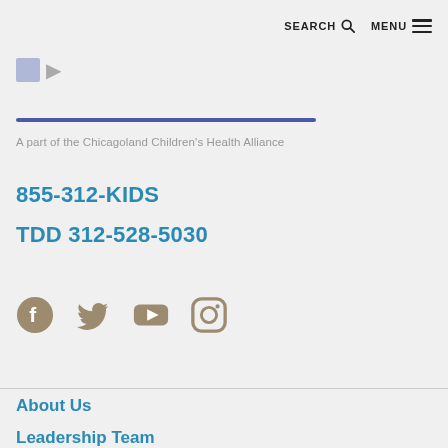SEARCH  MENU
[Figure (logo): Partial hospital/health system logo with blue underline bar]
A part of the Chicagoland Children's Health Alliance
855-312-KIDS
TDD 312-528-5030
[Figure (illustration): Social media icons: Facebook, Twitter, YouTube, Instagram in tan/brown color]
About Us
Leadership Team